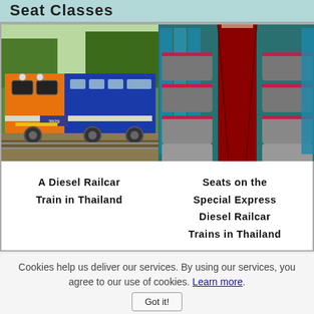Seat Classes
[Figure (photo): A diesel railcar train in Thailand, orange and blue colored, on tracks surrounded by greenery]
[Figure (photo): Interior of a Special Express Diesel Railcar Train showing red and grey reclining seats arranged in rows with blue curtains]
A Diesel Railcar Train in Thailand
Seats on the Special Express Diesel Railcar Trains in Thailand
Cookies help us deliver our services. By using our services, you agree to our use of cookies. Learn more.
Got it!